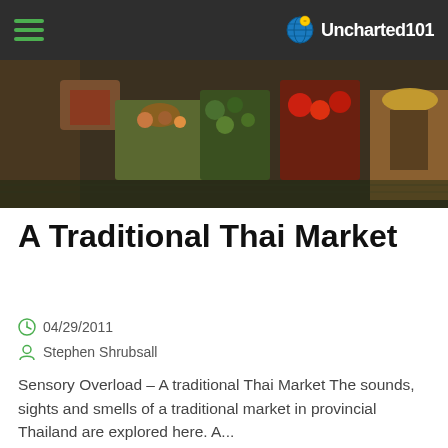Uncharted101
[Figure (photo): Aerial view of a traditional Thai floating market with vendors selling colorful fruits and vegetables from boats]
A Traditional Thai Market
04/29/2011
Stephen Shrubsall
Sensory Overload – A traditional Thai Market The sounds, sights and smells of a traditional market in provincial Thailand are explored here. A...
Read More
[Figure (photo): Partial view of the next article's hero image showing blue sky and green tree tops]